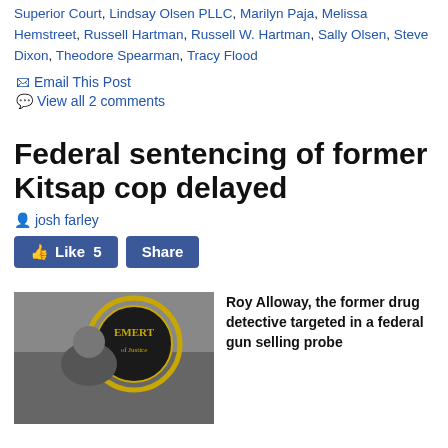Superior Court, Lindsay Olsen PLLC, Marilyn Paja, Melissa Hemstreet, Russell Hartman, Russell W. Hartman, Sally Olsen, Steve Dixon, Theodore Spearman, Tracy Flood
📧 Email This Post
💬 View all 2 comments
Federal sentencing of former Kitsap cop delayed
josh farley
[Figure (other): Facebook Like 5 button and Share button]
[Figure (photo): Photo of Roy Alloway in front of a badge or emblem reading EMERT]
Roy Alloway, the former drug detective targeted in a federal gun selling probe